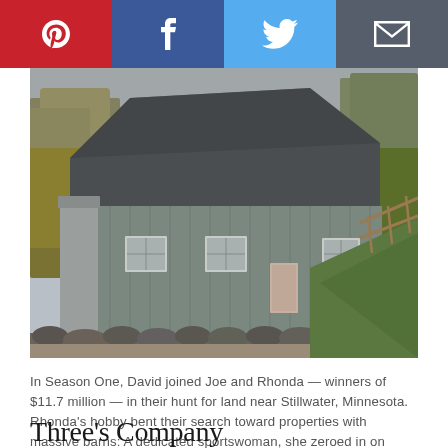[Figure (infographic): Social sharing bar with Pinterest (red), Facebook (dark blue), Twitter (light blue), and Email (dark grey) buttons, each with white icons]
[Figure (photo): A large grey barn with a gambrel roof, white-framed windows, a beige door, stone border along the foundation, green grass slope on the right, autumn trees in background, overcast sky]
In Season One, David joined Joe and Rhonda — winners of $11.7 million — in their hunt for land near Stillwater, Minnesota. Rhonda's hobby bent their search toward properties with massive barns: A dedicated sportswoman, she zeroed in on training space for her German Shepherds' agility drills.
Three's Company